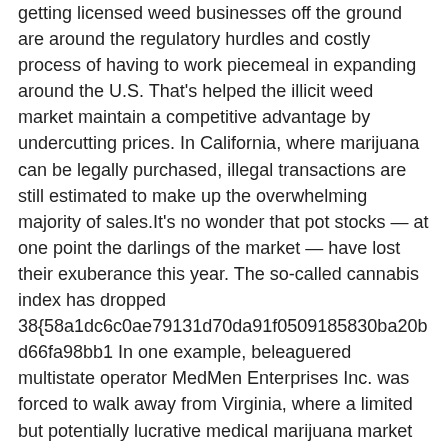getting licensed weed businesses off the ground are around the regulatory hurdles and costly process of having to work piecemeal in expanding around the U.S. That's helped the illicit weed market maintain a competitive advantage by undercutting prices. In California, where marijuana can be legally purchased, illegal transactions are still estimated to make up the overwhelming majority of sales.It's no wonder that pot stocks — at one point the darlings of the market — have lost their exuberance this year. The so-called cannabis index has dropped 38{58a1dc6c0ae79131d70da91f0509185830ba20bd66fa98bb1 In one example, beleaguered multistate operator MedMen Enterprises Inc. was forced to walk away from Virginia, where a limited but potentially lucrative medical marijuana market is just beginning to open up; its shares have slumped 73{58a1dc6c0ae79131d70da91f0509185830ba20bd66fa98bb1 this year.An unintended effect of squelching the